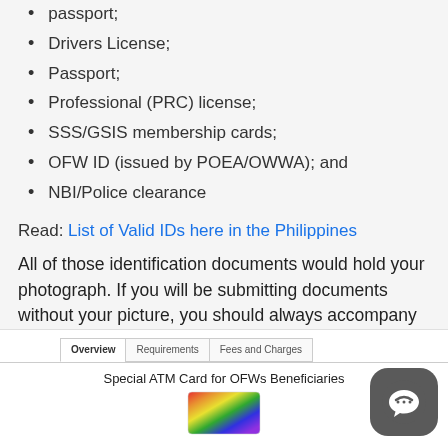passport;
Drivers License;
Passport;
Professional (PRC) license;
SSS/GSIS membership cards;
OFW ID (issued by POEA/OWWA); and
NBI/Police clearance
Read: List of Valid IDs here in the Philippines
All of those identification documents would hold your photograph. If you will be submitting documents without your picture, you should always accompany that with a photographed I.D.
[Figure (screenshot): Screenshot of a webpage showing tabs: Overview, Requirements, Fees and Charges, with title 'Special ATM Card for OFWs Beneficiaries' and a colorful ATM card image below]